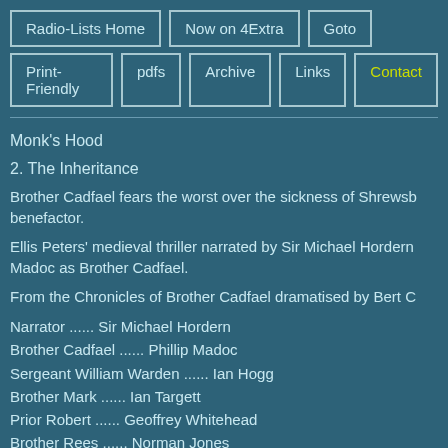Radio-Lists Home | Now on 4Extra | Goto | Print-Friendly | pdfs | Archive | Links | Contact
Monk's Hood
2. The Inheritance
Brother Cadfael fears the worst over the sickness of Shrewsbury's most generous benefactor.
Ellis Peters' medieval thriller narrated by Sir Michael Hordern with Phillip Madoc as Brother Cadfael.
From the Chronicles of Brother Cadfael dramatised by Bert C
Narrator ...... Sir Michael Hordern
Brother Cadfael ...... Phillip Madoc
Sergeant William Warden ...... Ian Hogg
Brother Mark ...... Ian Targett
Prior Robert ...... Geoffrey Whitehead
Brother Rees ...... Norman Jones
Richildis Purnel ...... Pat Haywood